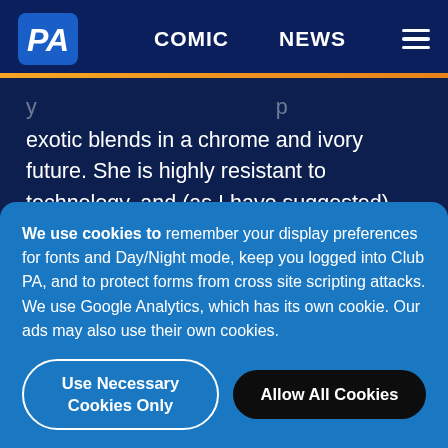PA | COMIC | NEWS
exotic blends in a chrome and ivory future. She is highly resistant to technology, and (as I have suggested) believes it to be a force for evil in the world. Indeed, when things do not function as advertised, she seems to think of me as being in some loose alliance with Technology, attributing to
We use cookies to remember your display preferences for fonts and Day/Night mode, keep you logged into Club PA, and to protect forms from cross site scripting attacks. We use Google Analytics, which has its own cookie. Our ads may also use their own cookies.
Use Necessary Cookies Only
Allow All Cookies